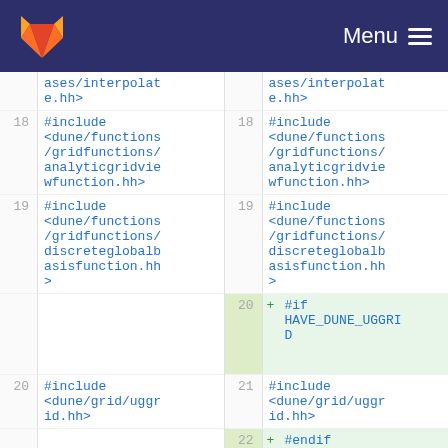GitLab navigation bar with logo and Menu
Diff view showing code changes with line numbers 18-22 on both left and right panels, including added lines for #if HAVE_DUNE_UGGRID and #endif